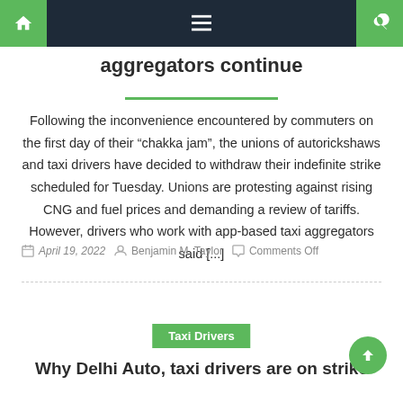Navigation bar with home, menu, and search icons
aggregators continue
Following the inconvenience encountered by commuters on the first day of their “chakka jam”, the unions of autorickshaws and taxi drivers have decided to withdraw their indefinite strike scheduled for Tuesday. Unions are protesting against rising CNG and fuel prices and demanding a review of tariffs. However, drivers who work with app-based taxi aggregators said [...]
April 19, 2022  Benjamin M. Taylor  Comments Off
Taxi Drivers
Why Delhi Auto, taxi drivers are on strike